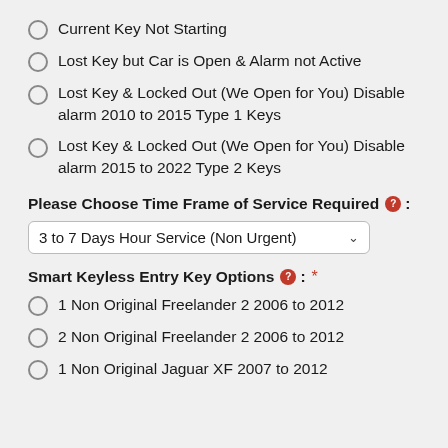Current Key Not Starting
Lost Key but Car is Open & Alarm not Active
Lost Key & Locked Out (We Open for You) Disable alarm 2010 to 2015 Type 1 Keys
Lost Key & Locked Out (We Open for You) Disable alarm 2015 to 2022 Type 2 Keys
Please Choose Time Frame of Service Required:
3 to 7 Days Hour Service (Non Urgent)
Smart Keyless Entry Key Options: *
1 Non Original Freelander 2 2006 to 2012
2 Non Original Freelander 2 2006 to 2012
1 Non Original Jaguar XF 2007 to 2012